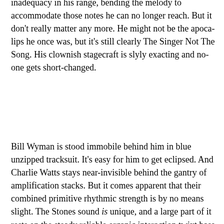inadequacy in his range, bending the melody to accommodate those notes he can no longer reach. But it don't really matter any more. He might not be the apoca-lips he once was, but it's still clearly The Singer Not The Song. His clownish stagecraft is slyly exacting and no-one gets short-changed.
Bill Wyman is stood immobile behind him in blue unzipped tracksuit. It's easy for him to get eclipsed. And Charlie Watts stays near-invisible behind the gantry of amplification stacks. But it comes apparent that their combined primitive rhythmic strength is by no means slight. The Stones sound is unique, and a large part of it rests on the steady reliable organic interaction twixt bass and drums. If anything of the early Route 66 Chicago Blues (or even Croydon Blues) raunch remains it's to be found here in their constantly thunderous gangling millstone grit. And it lays down the tight base for the essential looseness all around, making it possible, giving it shape and anchoring it to form. It allows the long improvisations to be spun out around Jagger's callisthenics on "Beast Of Burden", where he mounts a hydraulic lift and gets shunted out over the audience heads, then dances back